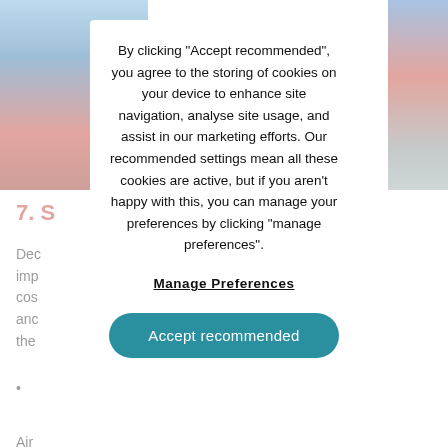[Figure (photo): Left side: port/harbour crane and shipping containers photo, partially visible]
[Figure (photo): Right side: shipping containers photo, partially visible]
7. S
Dec
imp
cos
anc
the
•
Air
tra
whilst sea freight is preferred for shipments that
By clicking “Accept recommended”, you agree to the storing of cookies on your device to enhance site navigation, analyse site usage, and assist in our marketing efforts. Our recommended settings mean all these cookies are active, but if you aren’t happy with this, you can manage your preferences by clicking "manage preferences".
Manage Preferences
Accept recommended